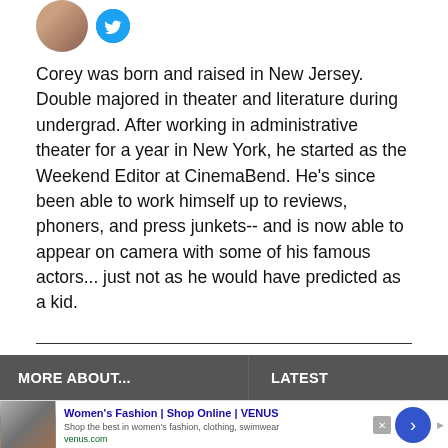[Figure (photo): Partial profile photo avatar (circular crop) and Twitter bird icon (blue circle) in top area]
Corey was born and raised in New Jersey. Double majored in theater and literature during undergrad. After working in administrative theater for a year in New York, he started as the Weekend Editor at CinemaBend. He's since been able to work himself up to reviews, phoners, and press junkets-- and is now able to appear on camera with some of his famous actors... just not as he would have predicted as a kid.
MORE ABOUT...
LATEST
Women's Fashion | Shop Online | VENUS
Shop the best in women's fashion, clothing, swimwear
venus.com